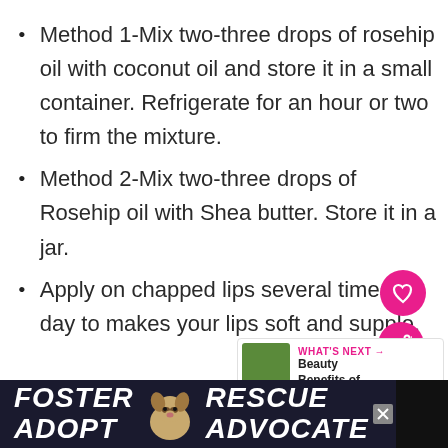Method 1-Mix two-three drops of rosehip oil with coconut oil and store it in a small container. Refrigerate for an hour or two to firm the mixture.
Method 2-Mix two-three drops of Rosehip oil with Shea butter. Store it in a jar.
Apply on chapped lips several times a day to makes your lips soft and supple.
[Figure (infographic): UI overlay: heart/save button (pink circle with heart icon), share button (pink circle with share icon), 'What's Next' recommendation widget showing Beauty Benefits of... with thumbnail]
[Figure (infographic): Ad banner at bottom: dark navy background with FOSTER ADOPT dog image RESCUE ADVOCATE text in white bold italic, with a close button and dark right panel]